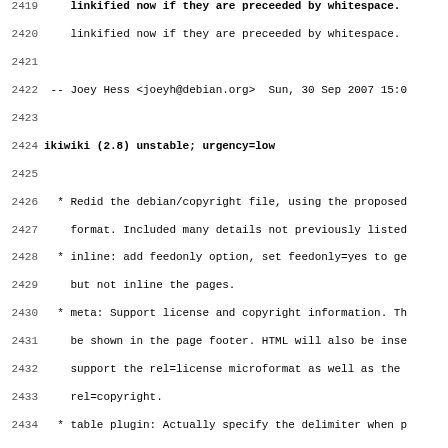Debian changelog excerpt for ikiwiki versions 2.7 and 2.8, showing bug fixes and new features. Lines 2419-2451.